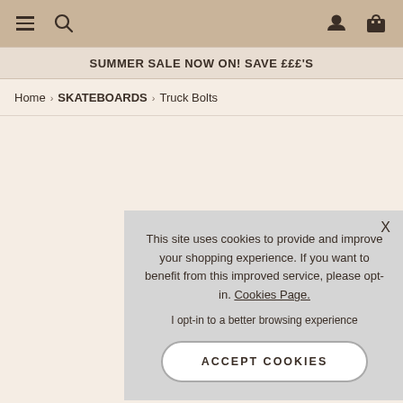Navigation bar with hamburger menu, search icon, user icon, and shopping bag icon
SUMMER SALE NOW ON! SAVE £££'S
Home › SKATEBOARDS › Truck Bolts
This site uses cookies to provide and improve your shopping experience. If you want to benefit from this improved service, please opt-in. Cookies Page.

I opt-in to a better browsing experience

ACCEPT COOKIES